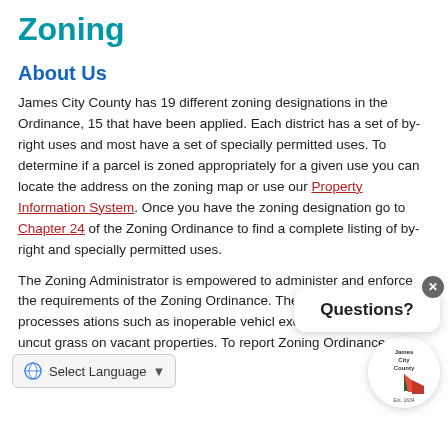Zoning
About Us
James City County has 19 different zoning designations in the Ordinance, 15 that have been applied. Each district has a set of by-right uses and most have a set of specially permitted uses. To determine if a parcel is zoned appropriately for a given use you can locate the address on the zoning map or use our Property Information System. Once you have the zoning designation go to Chapter 24 of the Zoning Ordinance to find a complete listing of by-right and specially permitted uses.
The Zoning Administrator is empowered to administer and enforce the requirements of the Zoning Ordinance. The Zoning Division processes ations such as inoperable vehicl excessive trash, and uncut grass on vacant properties. To report Zoning Ordinance violations